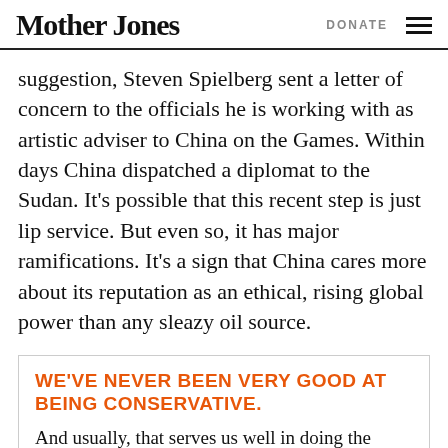Mother Jones | DONATE
suggestion, Steven Spielberg sent a letter of concern to the officials he is working with as artistic adviser to China on the Games. Within days China dispatched a diplomat to the Sudan. It’s possible that this recent step is just lip service. But even so, it has major ramifications. It’s a sign that China cares more about its reputation as an ethical, rising global power than any sleazy oil source.
WE’VE NEVER BEEN VERY GOOD AT BEING CONSERVATIVE.
And usually, that serves us well in doing the ambitious, hard-hitting journalism that you turn to Mother Jones for. But it also means we